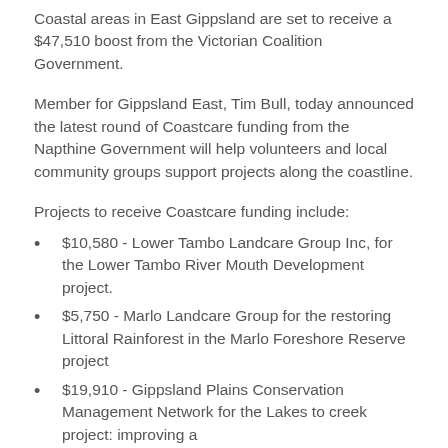Coastal areas in East Gippsland are set to receive a $47,510 boost from the Victorian Coalition Government.
Member for Gippsland East, Tim Bull, today announced the latest round of Coastcare funding from the Napthine Government will help volunteers and local community groups support projects along the coastline.
Projects to receive Coastcare funding include:
$10,580 - Lower Tambo Landcare Group Inc, for the Lower Tambo River Mouth Development project.
$5,750 - Marlo Landcare Group for the restoring Littoral Rainforest in the Marlo Foreshore Reserve project
$19,910 - Gippsland Plains Conservation Management Network for the Lakes to creek project: improving a